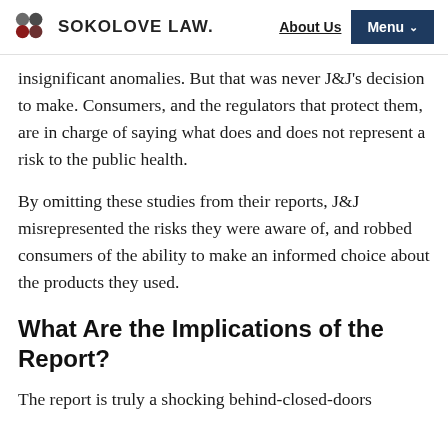SOKOLOVE LAW | About Us | Menu
insignificant anomalies. But that was never J&J's decision to make. Consumers, and the regulators that protect them, are in charge of saying what does and does not represent a risk to the public health.
By omitting these studies from their reports, J&J misrepresented the risks they were aware of, and robbed consumers of the ability to make an informed choice about the products they used.
What Are the Implications of the Report?
The report is truly a shocking behind-closed-doors